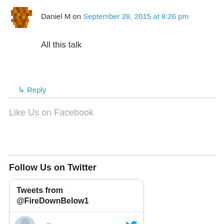Daniel M on September 28, 2015 at 8:26 pm
All this talk
↳ Reply
Like Us on Facebook
Follow Us on Twitter
Tweets from @FireDownBelow1
Erik Raym...